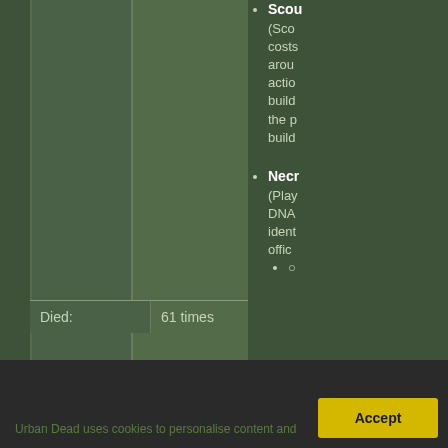Scou (Sco costs arou actio build the p build
Necr (Play DNA ident offic
| Died: | 61 times |
| --- | --- |
Urban Dead uses cookies to personalise content and